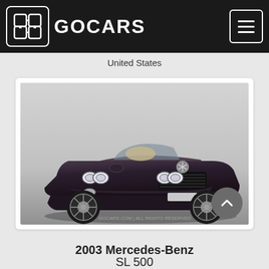GOCARS
United States
[Figure (photo): A dark charcoal/black 2003 Mercedes-Benz SL500 convertible with the top down, photographed from a front three-quarter angle on a light grey background. The car features round headlights, a Mercedes star grille emblem, and alloy wheels.]
2003 Mercedes-Benz
SL 500